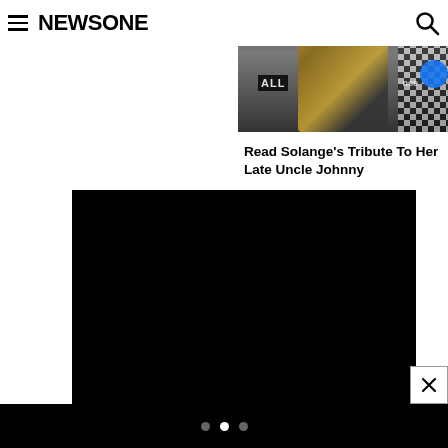NEWSONE
[Figure (photo): Partial photo of a person wearing a sequined/studded garment, visible from chest down, black background, event backdrop with partial text visible]
Read Solange's Tribute To Her Late Uncle Johnny
[Figure (photo): Large black rectangle, appears to be a video/media embed with no visible content]
[Figure (other): Carousel dots navigation: three dots at the bottom of the page]